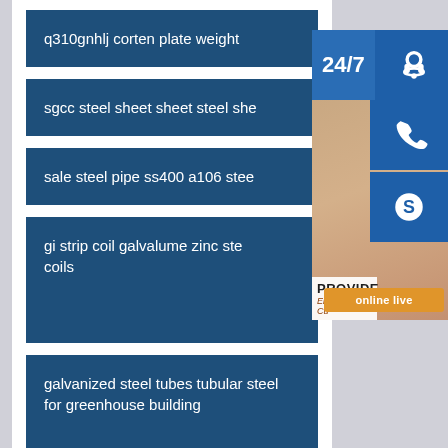q310gnhlj corten plate weight
sgcc steel sheet sheet steel she
sale steel pipe ss400 a106 stee
gi strip coil galvalume zinc ste coils
galvanized steel tubes tubular steel for greenhouse building
[Figure (photo): Customer service representative with headset, 24/7 support widget with phone, Skype, and online live chat icons]